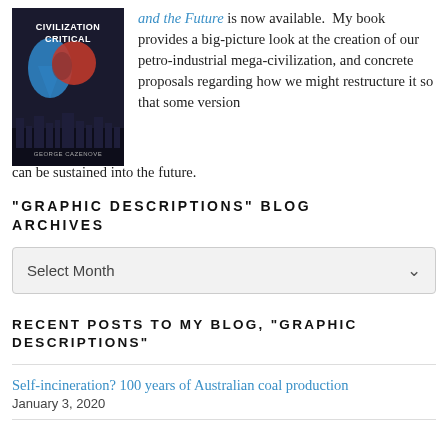[Figure (illustration): Book cover for 'Civilization Critical' showing dark background with blue and red droplet/flame shapes and city silhouette, author name at bottom]
and the Future is now available. My book provides a big-picture look at the creation of our petro-industrial mega-civilization, and concrete proposals regarding how we might restructure it so that some version can be sustained into the future.
"GRAPHIC DESCRIPTIONS" BLOG ARCHIVES
Select Month
RECENT POSTS TO MY BLOG, "GRAPHIC DESCRIPTIONS"
Self-incineration? 100 years of Australian coal production
January 3, 2020